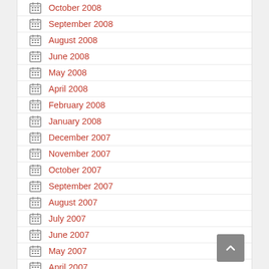October 2008
September 2008
August 2008
June 2008
May 2008
April 2008
February 2008
January 2008
December 2007
November 2007
October 2007
September 2007
August 2007
July 2007
June 2007
May 2007
April 2007